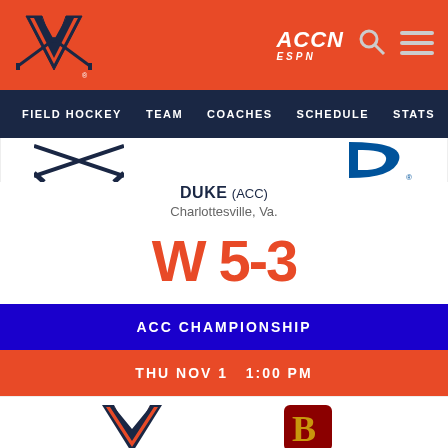[Figure (logo): University of Virginia Cavaliers logo (V with crossed sabers) on orange header bar]
[Figure (logo): ACCN ESPN logo and search/menu icons on orange header bar]
FIELD HOCKEY  TEAM  COACHES  SCHEDULE  STATS  NEWS
[Figure (logo): UVA crossed sabers logo (partial) and Duke Blue Devils logo (partial) in game card]
DUKE (ACC)
Charlottesville, Va.
W 5-3
ACC CHAMPIONSHIP
THU NOV 1  1:00 PM
[Figure (logo): UVA V logo and Boston College logo (partial) in next game card row]